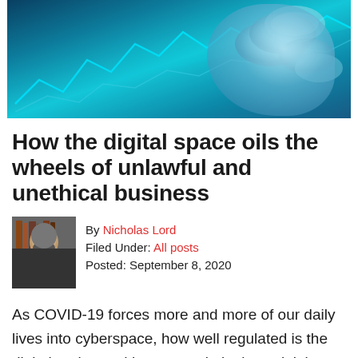[Figure (photo): Hero banner image with teal/blue digital finance themed background showing stock market graph lines and coins]
How the digital space oils the wheels of unlawful and unethical business
By Nicholas Lord
Filed Under: All posts
Posted: September 8, 2020
As COVID-19 forces more and more of our daily lives into cyberspace, how well regulated is the digital realm, and how can criminals exploit its grey areas? In this blog, originally from our On